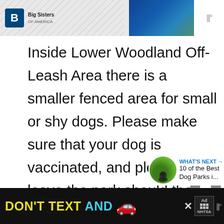[Figure (screenshot): Top banner with Big Brothers Big Sisters of America logo on left with crosshatch background, a sports/gaming photo on right, and weather icon on far right]
Inside Lower Woodland Off-Leash Area there is a smaller fenced area for small or shy dogs. Please make sure that your dog is vaccinated, and please leave the park should they exhibit any aggressive behavior. As well as a dog park, Woodland Park also has tennis courts, walking paths, a skatepark, and picnic areas.
[Figure (screenshot): What's Next widget showing a dog photo thumbnail with label 'WHAT'S NEXT →' and text '10 of the Best Dog Parks i...']
[Figure (screenshot): Bottom advertisement banner with black background showing 'DON'T TEXT AND' in yellow/cyan text with red car emoji, ad badge, NHTSA logo, close button, and weather icon]